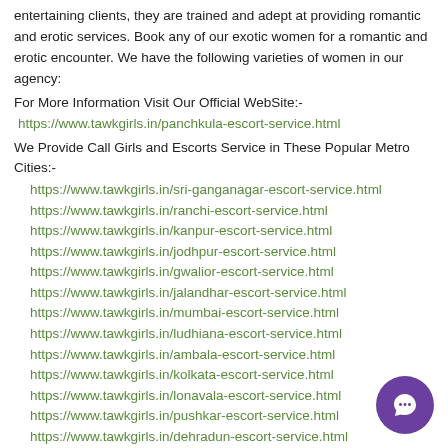entertaining clients, they are trained and adept at providing romantic and erotic services. Book any of our exotic women for a romantic and erotic encounter. We have the following varieties of women in our agency:
For More Information Visit Our Official WebSite:-
https://www.tawkgirls.in/panchkula-escort-service.html
We Provide Call Girls and Escorts Service in These Popular Metro Cities:-
https://www.tawkgirls.in/sri-ganganagar-escort-service.html
https://www.tawkgirls.in/ranchi-escort-service.html
https://www.tawkgirls.in/kanpur-escort-service.html
https://www.tawkgirls.in/jodhpur-escort-service.html
https://www.tawkgirls.in/gwalior-escort-service.html
https://www.tawkgirls.in/jalandhar-escort-service.html
https://www.tawkgirls.in/mumbai-escort-service.html
https://www.tawkgirls.in/ludhiana-escort-service.html
https://www.tawkgirls.in/ambala-escort-service.html
https://www.tawkgirls.in/kolkata-escort-service.html
https://www.tawkgirls.in/lonavala-escort-service.html
https://www.tawkgirls.in/pushkar-escort-service.html
https://www.tawkgirls.in/dehradun-escort-service.html
https://www.tawkgirls.in/rishikesh-escort-service.html
https://www.tawkgirls.in/manali-escort-service.html
https://www.tawkgirls.in/dhanbad-escort-service.html
https://www.tawkgirls.in/kochi-escort-service.html
https://www.tawkgirls.in/nashik-escort-service.html
https://www.tawkgirls.in/bhopal-escort-service.html